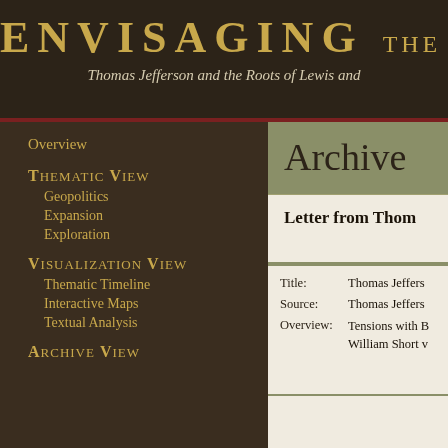ENVISAGING THE W
Thomas Jefferson and the Roots of Lewis and
Overview
Thematic View
Geopolitics
Expansion
Exploration
Visualization View
Thematic Timeline
Interactive Maps
Textual Analysis
Archive View
Archive
Letter from Thom
| Field | Value |
| --- | --- |
| Title: | Thomas Jeffers |
| Source: | Thomas Jeffers |
| Overview: | Tensions with B William Short v |